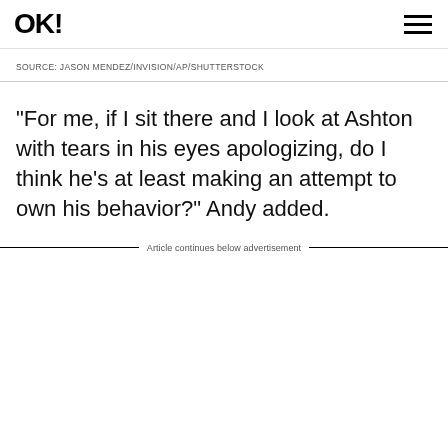OK!
SOURCE: JASON MENDEZ/INVISION/AP/SHUTTERSTOCK
“For me, if I sit there and I look at Ashton with tears in his eyes apologizing, do I think he’s at least making an attempt to own his behavior?” Andy added.
Article continues below advertisement